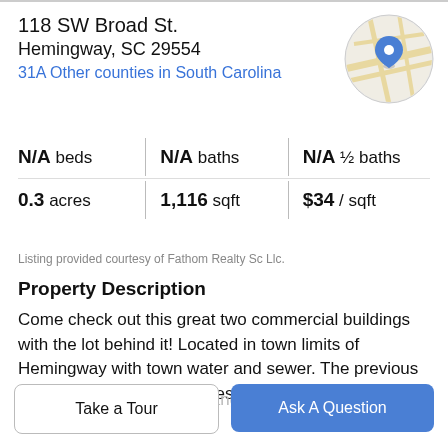118 SW Broad St.
Hemingway, SC 29554
31A Other counties in South Carolina
[Figure (map): Circular map thumbnail with blue location pin marker]
N/A beds | N/A baths | N/A ½ baths
0.3 acres | 1,116 sqft | $34 / sqft
Listing provided courtesy of Fathom Realty Sc Llc.
Property Description
Come check out this great two commercial buildings with the lot behind it! Located in town limits of Hemingway with town water and sewer. The previous use of the building was a restaurant. Whether you have a dream of opening your own restaurant or changing it into your dreams the
Take a Tour
Ask A Question